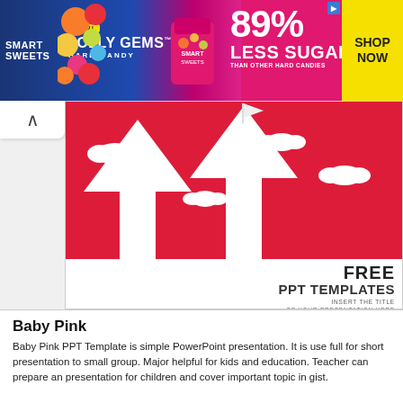[Figure (photo): Smart Sweets Jolly Gems Hard Candy advertisement banner. Blue to pink gradient background. Left side: Smart Sweets logo, NEW! badge, JOLLY GEMS Hard Candy text, candy images. Right side: 89% LESS SUGAR THAN OTHER HARD CANDIES text, yellow SHOP NOW button.]
[Figure (screenshot): PowerPoint slide preview with red background, white arrow shapes pointing up, white cloud shapes, a flag at top, and text: FREE PPT TEMPLATES / INSERT THE TITLE OF YOUR PRESENTATION HERE.]
Baby Pink
Baby Pink PPT Template is simple PowerPoint presentation. It is use full for short presentation to small group. Major helpful for kids and education. Teacher can prepare an presentation for children and cover important topic in gist.